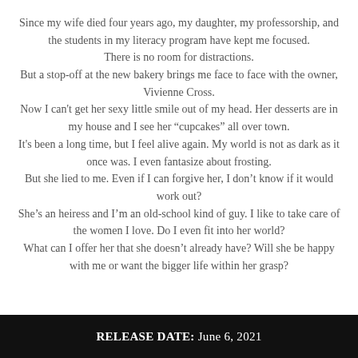Since my wife died four years ago, my daughter, my professorship, and the students in my literacy program have kept me focused. There is no room for distractions. But a stop-off at the new bakery brings me face to face with the owner, Vivienne Cross. Now I can't get her sexy little smile out of my head. Her desserts are in my house and I see her “cupcakes” all over town. It’s been a long time, but I feel alive again. My world is not as dark as it once was. I even fantasize about frosting. But she lied to me. Even if I can forgive her, I don’t know if it would work out? She’s an heiress and I’m an old-school kind of guy. I like to take care of the women I love. Do I even fit into her world? What can I offer her that she doesn’t already have? Will she be happy with me or want the bigger life within her grasp?
RELEASE DATE: June 6, 2021